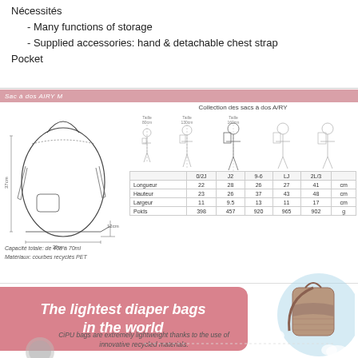- Many functions of storage
- Supplied accessories: hand & detachable chest strap
Pocket
Sac à dos AIRY M
[Figure (engineering-diagram): Line drawing of AIRY M backpack with dimensions: 37cm height, 35cm width, 12cm depth]
Capacité totale: de 40à à 70ml
Matériaux: courbes recyclés PET
[Figure (infographic): Collection des sacs à dos A/RY size comparison showing figures of different heights (Taille 80cm, Taille 130cm, Taille 180cm) wearing backpacks in sizes 0/2J, J2, 9-6, LJ, 2L/3]
|  | 0/2J | J2 | 9-6 | LJ | 2L/3 |  |
| --- | --- | --- | --- | --- | --- | --- |
| Longueur | 22 | 28 | 26 | 27 | 41 | cm |
| Hauteur | 23 | 26 | 37 | 43 | 48 | cm |
| Largeur | 11 | 9.5 | 13 | 11 | 17 | cm |
| Poids | 398 | 457 | 920 | 965 | 902 | g |
[Figure (photo): Photo of a brown/taupe textured backpack diaper bag against a blue circle background with clouds]
The lightest diaper bags in the world
CiPU bags are extremely lightweight thanks to the use of innovative recycled materials.